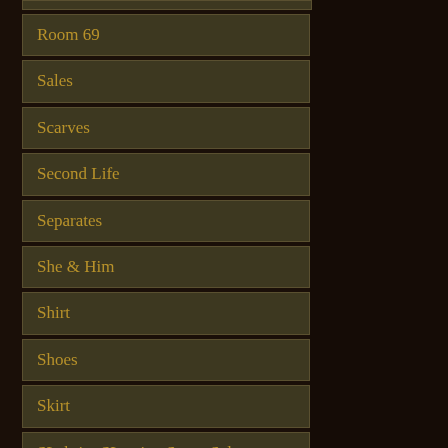Room 69
Sales
Scarves
Second Life
Separates
She & Him
Shirt
Shoes
Skirt
SLebrity SLection Street Sale
SLink System Shoes
Sneak Peek